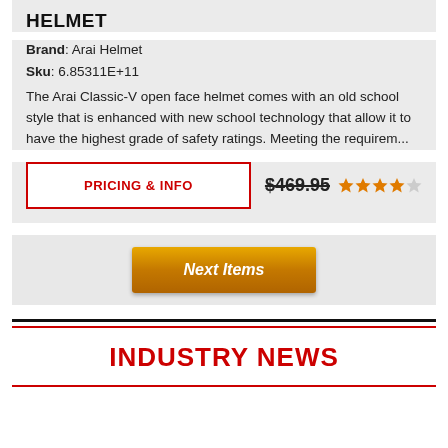HELMET
Brand: Arai Helmet
Sku: 6.85311E+11
The Arai Classic-V open face helmet comes with an old school style that is enhanced with new school technology that allow it to have the highest grade of safety ratings. Meeting the requirem...
PRICING & INFO  $469.95  ★★★★☆
Next Items
INDUSTRY NEWS